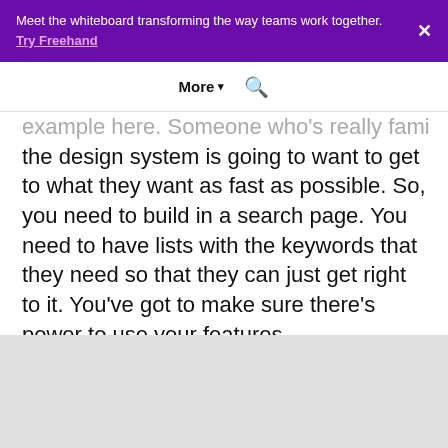Meet the whiteboard transforming the way teams work together. Try Freehand
More ▾ 🔍
example here. Someone who's really familiar with the design system is going to want to get to what they want as fast as possible. So, you need to build in a search page. You need to have lists with the keywords that they need so that they can just get right to it. You've got to make sure there's power to use your features.
[Figure (other): Gray placeholder block at the bottom of the page]